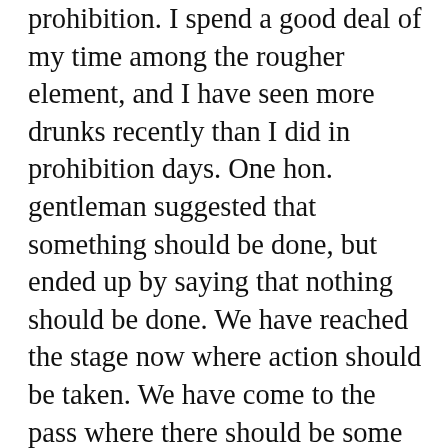prohibition. I spend a good deal of my time among the rougher element, and I have seen more drunks recently than I did in prohibition days. One hon. gentleman suggested that something should be done, but ended up by saying that nothing should be done. We have reached the stage now where action should be taken. We have come to the pass where there should be some curtailment in time, and the matter should be talked over with the provincial governments. Surely we do not think that the ladies' beer parlours are something that we should be proud of. How would any hon. member like to see his daughter or sister coming out of a ladies' beer parlour, swinging along? Spend some of your time there some time, as I do occasionally. I often drop in on my way home from this house, and I see entertaining times there. I read character in faces, and while there are some Scotch among them, they are not all Scotch. Beer has a more degrading element in it